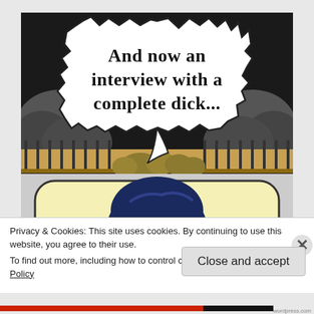[Figure (illustration): Comic book style panel showing a speech bubble in a dark outdoor scene with clouds/smoke, reading 'And now an interview with a complete dick...' with a partial view of a character's dark-haired head below in a yellow rounded panel]
Privacy & Cookies: This site uses cookies. By continuing to use this website, you agree to their use.
To find out more, including how to control cookies, see here: Cookie Policy
Close and accept